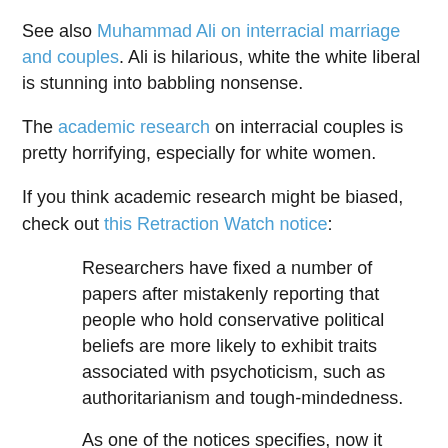See also Muhammad Ali on interracial marriage and couples. Ali is hilarious, white the white liberal is stunning into babbling nonsense.
The academic research on interracial couples is pretty horrifying, especially for white women.
If you think academic research might be biased, check out this Retraction Watch notice:
Researchers have fixed a number of papers after mistakenly reporting that people who hold conservative political beliefs are more likely to exhibit traits associated with psychoticism, such as authoritarianism and tough-mindedness.
As one of the notices specifies, now it appears that liberal political beliefs are linked with psychoticism. That paper also swapped ideologies when reporting on people higher in neuroticism and social desirability (falsely claiming that you have socially desirable